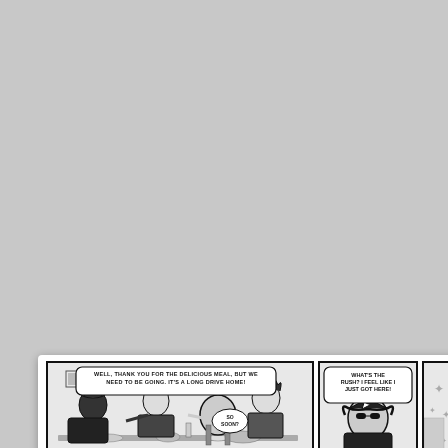[Figure (illustration): Comic strip page from 'Sluggy Freelance'. Top row: large panel showing group of characters at a dining table with speech bubble 'Well, thank you for the delicious meal, but we need to be going. It's a long drive home!' and smaller bubble 'So soon?'; middle panel showing a character with speech bubble 'What's the rush? I feel like I just got here!'; partial right panel with star decorations. Bottom row: left panel with speech bubbles 'Oh, I think I left my soldering iron on. Later!' and 'I'll walk you guys out.'; middle panel with speech bubbles 'Torg, I'm not dating Clem.' and 'But your mom said...'; right panel with text 'Clem reads too much everything. We had on high school and he sp rest of the year pinin so last month we wen blind date, and now h were engaged']